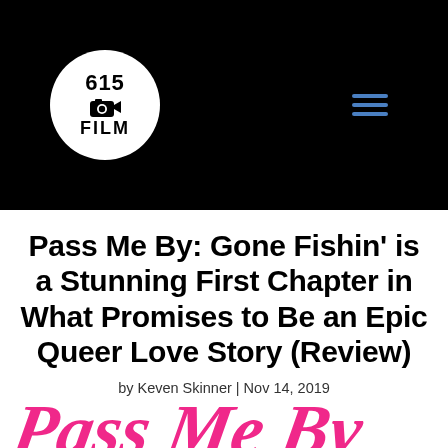[Figure (logo): 615 Film logo: white circle with '615' text, camera icon, and 'FILM' text on black header background]
Pass Me By: Gone Fishin' is a Stunning First Chapter in What Promises to Be an Epic Queer Love Story (Review)
by Keven Skinner | Nov 14, 2019
[Figure (photo): Partial pink cursive/handwritten text visible at bottom of page, cropped]